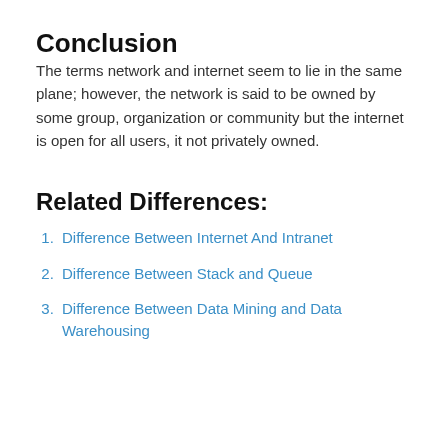Conclusion
The terms network and internet seem to lie in the same plane; however, the network is said to be owned by some group, organization or community but the internet is open for all users, it not privately owned.
Related Differences:
Difference Between Internet And Intranet
Difference Between Stack and Queue
Difference Between Data Mining and Data Warehousing